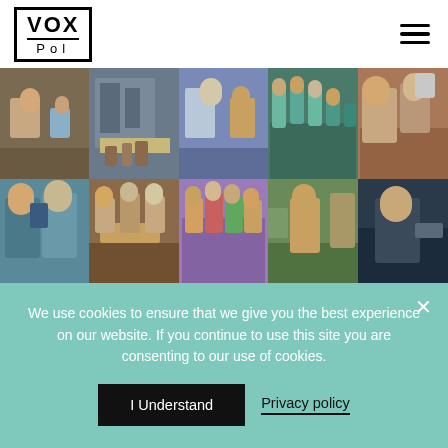[Figure (logo): VOX-Pol logo: black box with VOX in bold and Pol below]
[Figure (illustration): Grid of illustrated comic-style scenes showing various social situations related to radicalisation prevention, arranged in 2 rows of 5 panels]
The Name of the Game in Radicalisation Prevention
September 23, 2020
We use cookies to ensure that we give you the best experience on our website. If you continue to use this site you are consenting to our use of cookies.
I Understand
Privacy policy